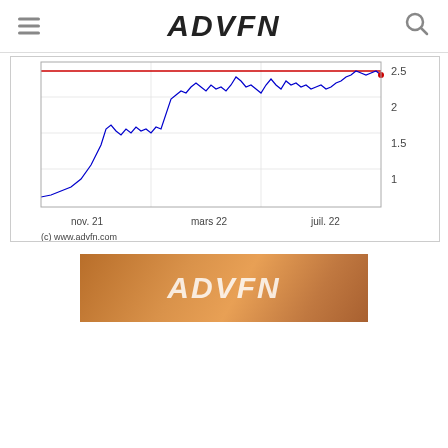ADVFN
[Figure (continuous-plot): Line chart showing stock price from nov. 21 to juil. 22. Price starts around 0.9, rises sharply to about 2.5, with a red horizontal reference line near 2.5. Y-axis labels: 1, 1.5, 2, 2.5. X-axis labels: nov. 21, mars 22, juil. 22. Copyright: (c) www.advfn.com]
[Figure (logo): ADVFN logo banner on sandy/desert background]